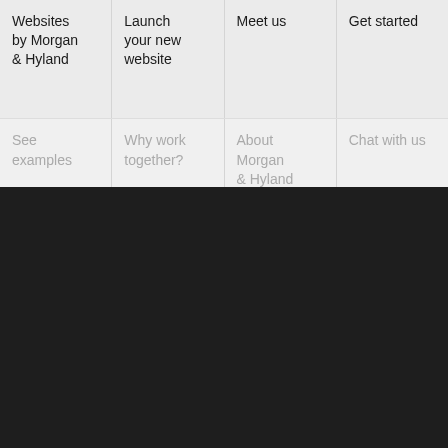Websites by Morgan & Hyland
Launch your new website
Meet us
Get started
See examples
Why work together?
About Morgan & Hyland
Chat with us